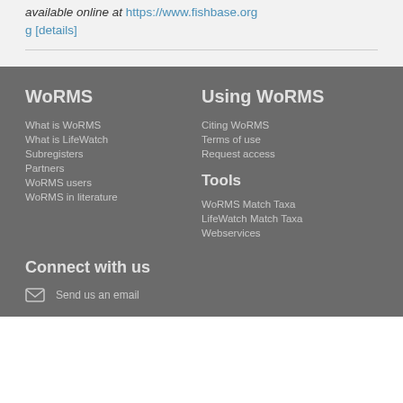available online at https://www.fishbase.org [details]
WoRMS
What is WoRMS
What is LifeWatch
Subregisters
Partners
WoRMS users
WoRMS in literature
Using WoRMS
Citing WoRMS
Terms of use
Request access
Tools
WoRMS Match Taxa
LifeWatch Match Taxa
Webservices
Connect with us
Send us an email